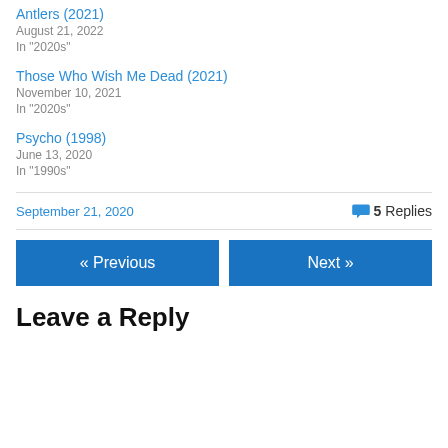Antlers (2021)
August 21, 2022
In "2020s"
Those Who Wish Me Dead (2021)
November 10, 2021
In "2020s"
Psycho (1998)
June 13, 2020
In "1990s"
September 21, 2020   💬 5 Replies
« Previous   Next »
Leave a Reply